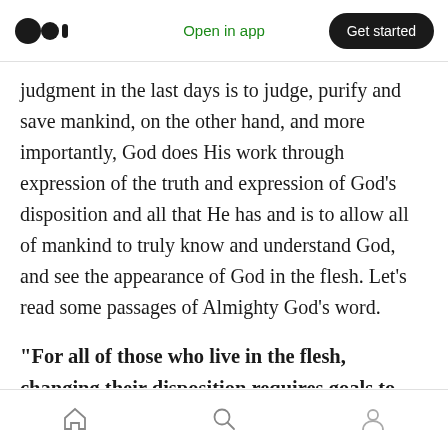Open in app | Get started
judgment in the last days is to judge, purify and save mankind, on the other hand, and more importantly, God does His work through expression of the truth and expression of God’s disposition and all that He has and is to allow all of mankind to truly know and understand God, and see the appearance of God in the flesh. Let’s read some passages of Almighty God’s word.
“For all of those who live in the flesh, changing their disposition requires goals to pursue, and knowing God requires witnessing the real
Home | Search | Profile